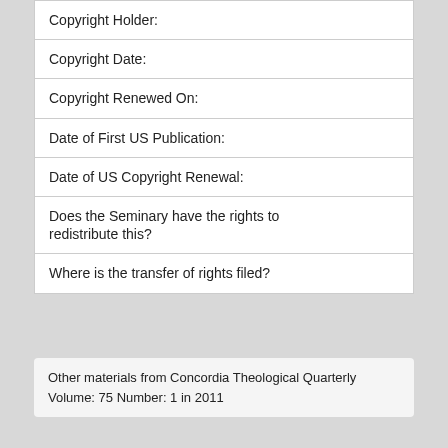| Copyright Holder: |
| Copyright Date: |
| Copyright Renewed On: |
| Date of First US Publication: |
| Date of US Copyright Renewal: |
| Does the Seminary have the rights to redistribute this? |
| Where is the transfer of rights filed? |
Other materials from Concordia Theological Quarterly Volume: 75 Number: 1 in 2011